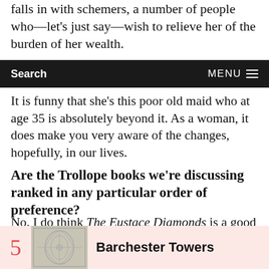falls in with schemers, a number of people who—let's just say—wish to relieve her of the burden of her wealth.
Search   MENU
It is funny that she's this poor old maid who at age 35 is absolutely beyond it. As a woman, it does make you very aware of the changes, hopefully, in our lives.
Are the Trollope books we're discussing ranked in any particular order of preference?
No. I do think The Eustace Diamonds is a good one to start with. Barchester Towers as well, because it introduces you to a lot of his most famous characters.
5   Barchester Towers